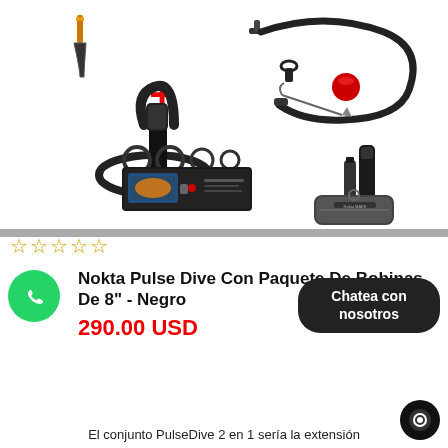[Figure (photo): Product photo of Nokta Pulse Dive metal detector kit with accessories including coil, case, o-rings, probe, bag, and digging tool, with a red plus sign indicating a bundle]
☆☆☆☆☆
Nokta Pulse Dive Con Paquete De Bobinas De 8" - Negro
290.00 USD
Chatea con nosotros
El conjunto PulseDive 2 en 1 sería la extensión